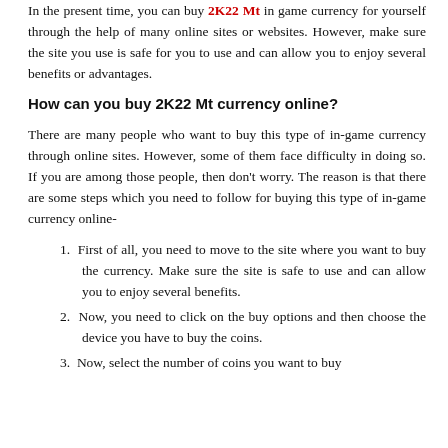In the present time, you can buy 2K22 Mt in game currency for yourself through the help of many online sites or websites. However, make sure the site you use is safe for you to use and can allow you to enjoy several benefits or advantages.
How can you buy 2K22 Mt currency online?
There are many people who want to buy this type of in-game currency through online sites. However, some of them face difficulty in doing so. If you are among those people, then don't worry. The reason is that there are some steps which you need to follow for buying this type of in-game currency online-
1. First of all, you need to move to the site where you want to buy the currency. Make sure the site is safe to use and can allow you to enjoy several benefits.
2. Now, you need to click on the buy options and then choose the device you have to buy the coins.
3. Now, select the number of coins you want to buy